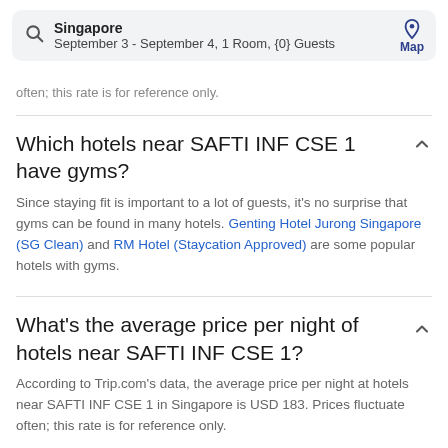Singapore
September 3 - September 4, 1 Room, {0} Guests
often; this rate is for reference only.
Which hotels near SAFTI INF CSE 1 have gyms?
Since staying fit is important to a lot of guests, it's no surprise that gyms can be found in many hotels. Genting Hotel Jurong Singapore (SG Clean) and RM Hotel (Staycation Approved) are some popular hotels with gyms.
What's the average price per night of hotels near SAFTI INF CSE 1?
According to Trip.com's data, the average price per night at hotels near SAFTI INF CSE 1 in Singapore is USD 183. Prices fluctuate often; this rate is for reference only.